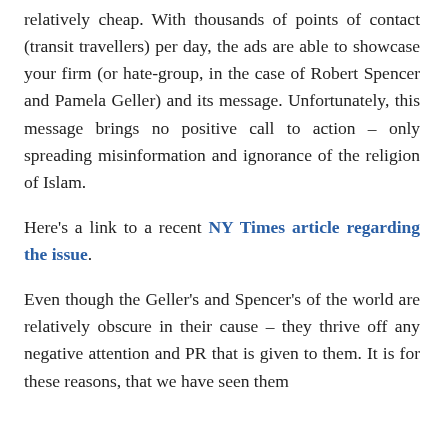relatively cheap.  With thousands of points of contact (transit travellers) per day, the ads are able to showcase your firm (or hate-group, in the case of Robert Spencer and Pamela Geller) and its message.  Unfortunately, this message brings no positive call to action – only spreading misinformation and ignorance of the religion of Islam.
Here's a link to a recent NY Times article regarding the issue.
Even though the Geller's and Spencer's of the world are relatively obscure in their cause – they thrive off any negative attention and PR that is given to them.  It is for these reasons, that we have seen them